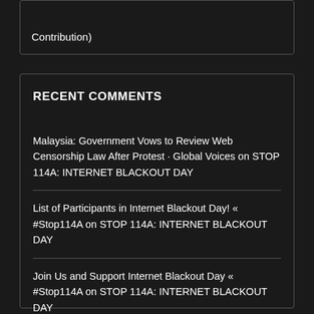Contribution)
RECENT COMMENTS
Malaysia: Government Vows to Review Web Censorship Law After Protest · Global Voices on STOP 114A: INTERNET BLACKOUT DAY
List of Participants in Internet Blackout Day! « #Stop114A on STOP 114A: INTERNET BLACKOUT DAY
Join Us and Support Internet Blackout Day « #Stop114A on STOP 114A: INTERNET BLACKOUT DAY